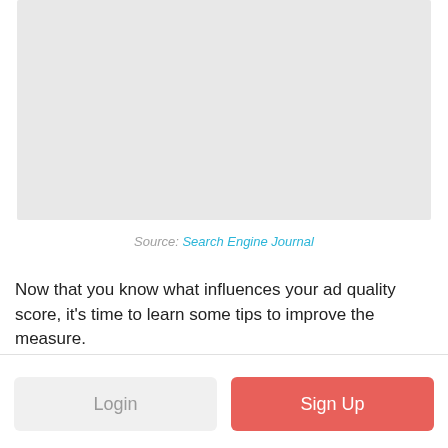[Figure (other): Gray placeholder image area]
Source: Search Engine Journal
Now that you know what influences your ad quality score, it's time to learn some tips to improve the measure.